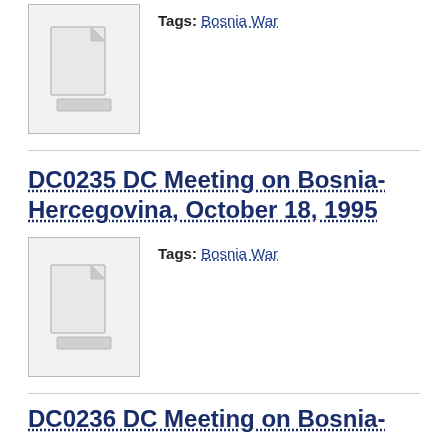[Figure (illustration): Document icon placeholder image (grey file icon on light grey background) for the first entry]
Tags: Bosnia War
DC0235 DC Meeting on Bosnia-Hercegovina, October 18, 1995
[Figure (illustration): Document icon placeholder image (grey file icon on light grey background) for DC0235 entry]
Tags: Bosnia War
DC0236 DC Meeting on Bosnia-...